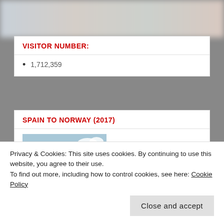VISITOR NUMBER:
1,712,359
SPAIN TO NORWAY (2017)
[Figure (illustration): Book cover for 'Spain to Norway on a Bike Called...' — road sign style design with dark red text on white arrow signs against a light blue background, with a bicycle wheel visible at bottom left]
Privacy & Cookies: This site uses cookies. By continuing to use this website, you agree to their use.
To find out more, including how to control cookies, see here: Cookie Policy